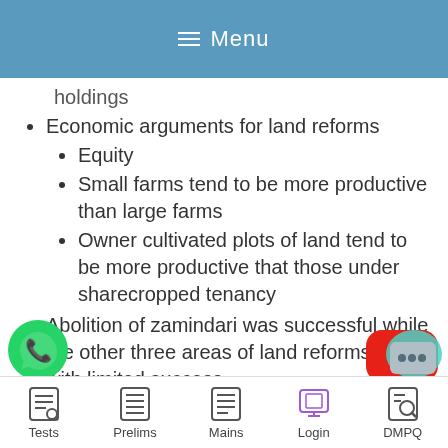Menu
holdings
Economic arguments for land reforms
Equity
Small farms tend to be more productive than large farms
Owner cultivated plots of land tend to be more productive that those under sharecropped tenancy
Abolition of zamindari was successful while the other three areas of land reforms met with limited success
Operation Bargha. Also, LR in Kerala
Regional trends in LR
Effect of land reforms
Tests | Prelims | Mains | Login | DMPQ